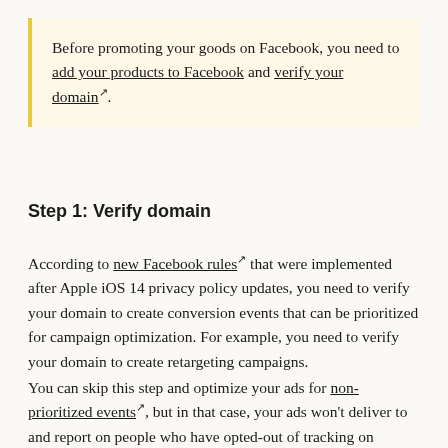Before promoting your goods on Facebook, you need to add your products to Facebook and verify your domain¹.
Step 1: Verify domain
According to new Facebook rules¹ that were implemented after Apple iOS 14 privacy policy updates, you need to verify your domain to create conversion events that can be prioritized for campaign optimization. For example, you need to verify your domain to create retargeting campaigns.
You can skip this step and optimize your ads for non-prioritized events¹, but in that case, your ads won't deliver to and report on people who have opted-out of tracking on